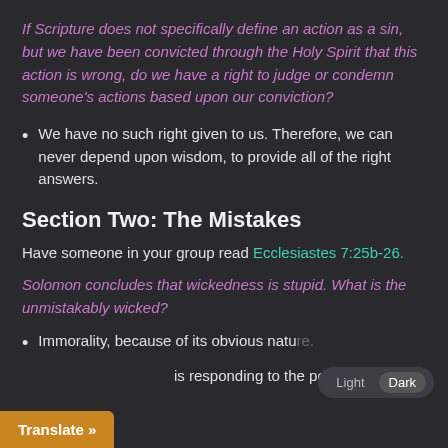If Scripture does not specifically define an action as a sin, but we have been convicted through the Holy Spirit that this action is wrong, do we have a right to judge or condemn someone's actions based upon our conviction?
We have no such right given to us. Therefore, we can never depend upon wisdom, to provide all of the right answers.
Section Two: The Mistakes
Have someone in your group read Ecclesiastes 7:25b-26.
Solomon concludes that wickedness is stupid. What is the unmistakably wicked?
Immorality, because of its obvious nature. is responding to the person who lacks